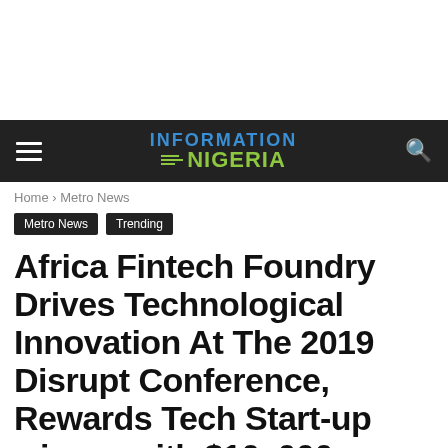INFORMATION NIGERIA
Home › Metro News
Metro News
Trending
Africa Fintech Foundry Drives Technological Innovation At The 2019 Disrupt Conference, Rewards Tech Start-up winner with $10, 000
By Victor - June 6, 2019